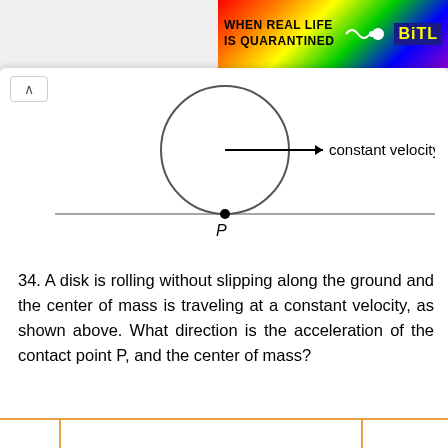[Figure (illustration): Rainbow-colored banner with text WHEN REAL LIFE IS QUARANTINED and BitL logo with wavy sperm-like graphic]
[Figure (engineering-diagram): Diagram of a disk (circle) rolling on a flat horizontal surface. An arrow points right from the center labeled 'constant velocity'. A dot at the bottom contact point is labeled P.]
34. A disk is rolling without slipping along the ground and the center of mass is traveling at a constant velocity, as shown above. What direction is the acceleration of the contact point P, and the center of mass?
|  |  |  |